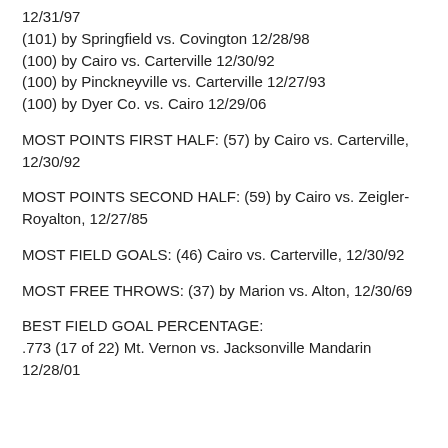12/31/97
(101) by Springfield vs. Covington 12/28/98
(100) by Cairo vs. Carterville 12/30/92
(100) by Pinckneyville vs. Carterville 12/27/93
(100) by Dyer Co. vs. Cairo 12/29/06
MOST POINTS FIRST HALF: (57) by Cairo vs. Carterville, 12/30/92
MOST POINTS SECOND HALF: (59) by Cairo vs. Zeigler-Royalton, 12/27/85
MOST FIELD GOALS: (46) Cairo vs. Carterville, 12/30/92
MOST FREE THROWS: (37) by Marion vs. Alton, 12/30/69
BEST FIELD GOAL PERCENTAGE:
.773 (17 of 22) Mt. Vernon vs. Jacksonville Mandarin 12/28/01